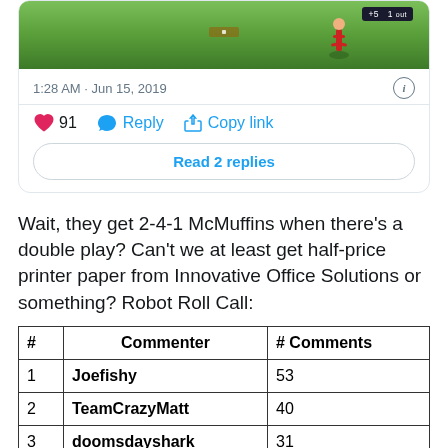[Figure (screenshot): Screenshot of a tweet card showing a baseball game image at the top, timestamp '1:28 AM · Jun 15, 2019', an info icon, a heart icon with count 91, Reply button, Copy link button, and a 'Read 2 replies' button.]
Wait, they get 2-4-1 McMuffins when there's a double play? Can't we at least get half-price printer paper from Innovative Office Solutions or something? Robot Roll Call:
| # | Commenter | # Comments |
| --- | --- | --- |
| 1 | Joefishy | 53 |
| 2 | TeamCrazyMatt | 40 |
| 3 | doomsdayshark | 31 |
| 4 | Brandon Brooks | 24 |